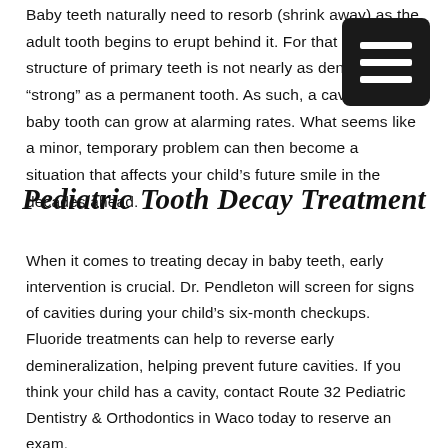Baby teeth naturally need to resorb (shrink away) as the adult tooth begins to erupt behind it. For that reason, structure of primary teeth is not nearly as dense or "strong" as a permanent tooth. As such, a cavity in a baby tooth can grow at alarming rates. What seems like a minor, temporary problem can then become a situation that affects your child's future smile in the decades ahead.
Pediatric Tooth Decay Treatment
When it comes to treating decay in baby teeth, early intervention is crucial. Dr. Pendleton will screen for signs of cavities during your child's six-month checkups. Fluoride treatments can help to reverse early demineralization, helping prevent future cavities. If you think your child has a cavity, contact Route 32 Pediatric Dentistry & Orthodontics in Waco today to reserve an exam.